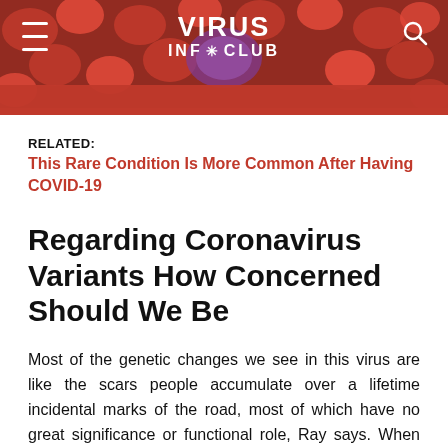VIRUS INF⚙CLU B
RELATED:
This Rare Condition Is More Common After Having COVID-19
Regarding Coronavirus Variants How Concerned Should We Be
Most of the genetic changes we see in this virus are like the scars people accumulate over a lifetime incidental marks of the road, most of which have no great significance or functional role, Ray says. When the evidence is strong enough that a viral genetic change is causing a change in the behavior of the virus, we gain new insight regarding how this virus works. The virus seems to have some limitations in